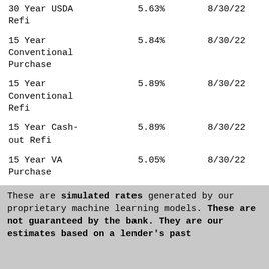| 30 Year USDA Refi | 5.63% | 8/30/22 |
| 15 Year Conventional Purchase | 5.84% | 8/30/22 |
| 15 Year Conventional Refi | 5.89% | 8/30/22 |
| 15 Year Cash-out Refi | 5.89% | 8/30/22 |
| 15 Year VA Purchase | 5.05% | 8/30/22 |
These are simulated rates generated by our proprietary machine learning models. These are not guaranteed by the bank. They are our estimates based on a lender's past